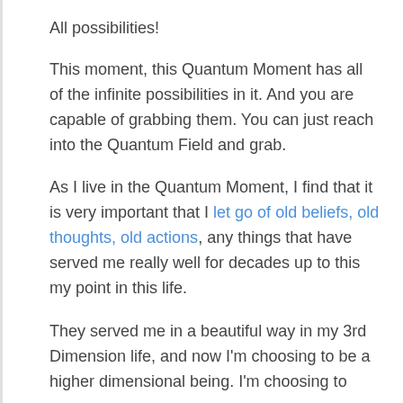All possibilities!
This moment, this Quantum Moment has all of the infinite possibilities in it. And you are capable of grabbing them. You can just reach into the Quantum Field and grab.
As I live in the Quantum Moment, I find that it is very important that I let go of old beliefs, old thoughts, old actions, any things that have served me really well for decades up to this my point in this life.
They served me in a beautiful way in my 3rd Dimension life, and now I'm choosing to be a higher dimensional being. I'm choosing to